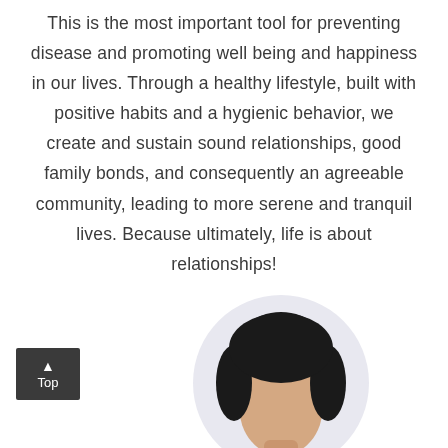This is the most important tool for preventing disease and promoting well being and happiness in our lives. Through a healthy lifestyle, built with positive habits and a hygienic behavior, we create and sustain sound relationships, good family bonds, and consequently an agreeable community, leading to more serene and tranquil lives. Because ultimately, life is about relationships!
[Figure (photo): Circular portrait photo of a person with dark hair, partially visible at the bottom right of the page]